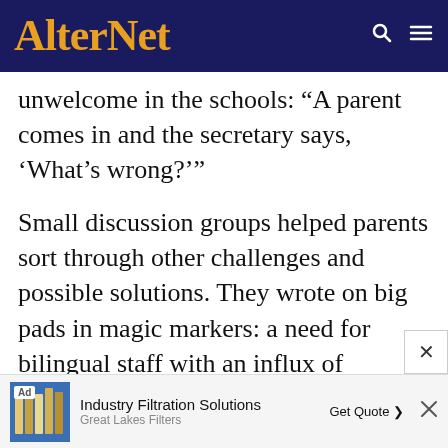AlterNet
unwelcome in the schools: “A parent comes in and the secretary says, ‘What’s wrong?’”
Small discussion groups helped parents sort through other challenges and possible solutions. They wrote on big pads in magic markers: a need for bilingual staff with an influx of Hispanic students in town, classrooms meant for early childhood classes now housing middle schoolers who are cramped, and a lack of evidence from the schools on the changes
[Figure (other): Advertisement banner for Industry Filtration Solutions by Great Lakes Filters with Get Quote button]